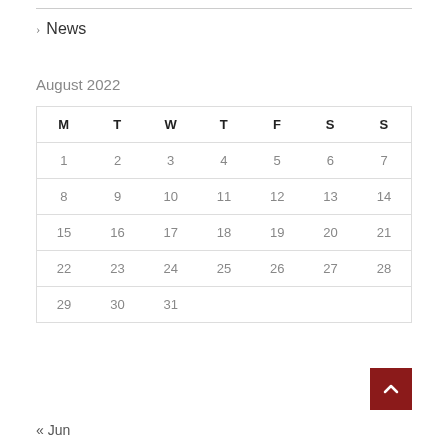> News
August 2022
| M | T | W | T | F | S | S |
| --- | --- | --- | --- | --- | --- | --- |
| 1 | 2 | 3 | 4 | 5 | 6 | 7 |
| 8 | 9 | 10 | 11 | 12 | 13 | 14 |
| 15 | 16 | 17 | 18 | 19 | 20 | 21 |
| 22 | 23 | 24 | 25 | 26 | 27 | 28 |
| 29 | 30 | 31 |  |  |  |  |
« Jun